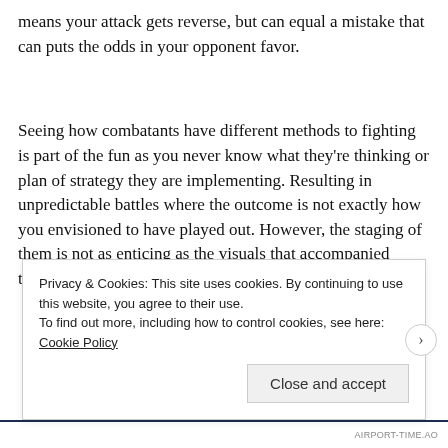means your attack gets reverse, but can equal a mistake that can puts the odds in your opponent favor.
Seeing how combatants have different methods to fighting is part of the fun as you never know what they're thinking or plan of strategy they are implementing. Resulting in unpredictable battles where the outcome is not exactly how you envisioned to have played out. However, the staging of them is not as enticing as the visuals that accompanied them. Despite having
Privacy & Cookies: This site uses cookies. By continuing to use this website, you agree to their use.
To find out more, including how to control cookies, see here: Cookie Policy
Close and accept
AIRPORT-TIME.AO